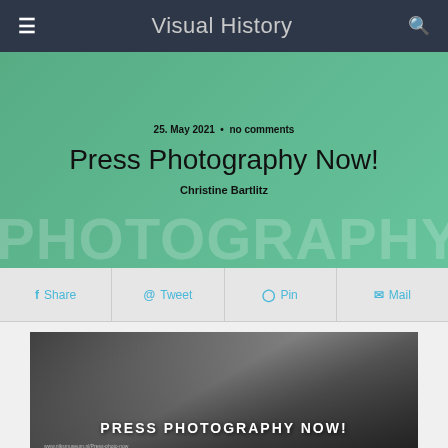Visual History
25. May 2021 • no comments
Press Photography Now!
Christine Bartlitz
Share  Tweet  Pin  Mail
[Figure (photo): Black and white photograph showing a crowd of press photographers on top of a vehicle, with text overlay reading PRESS PHOTOGRAPHY NOW!]
Screenshot Rijksmuseum: Press Photography now! [25.05.2021]